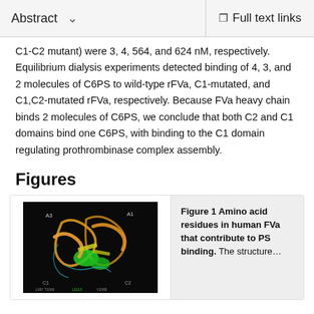Abstract | Full text links
C1-C2 mutant) were 3, 4, 564, and 624 nM, respectively. Equilibrium dialysis experiments detected binding of 4, 3, and 2 molecules of C6PS to wild-type rFVa, C1-mutated, and C1,C2-mutated rFVa, respectively. Because FVa heavy chain binds 2 molecules of C6PS, we conclude that both C2 and C1 domains bind one C6PS, with binding to the C1 domain regulating prothrombinase complex assembly.
Figures
[Figure (photo): Molecular structure image of human FVa showing amino acid residues on a black background with colored ribbon/strand representations in green, orange, and yellow]
Figure 1 Amino acid residues in human FVa that contribute to PS binding. The structure…